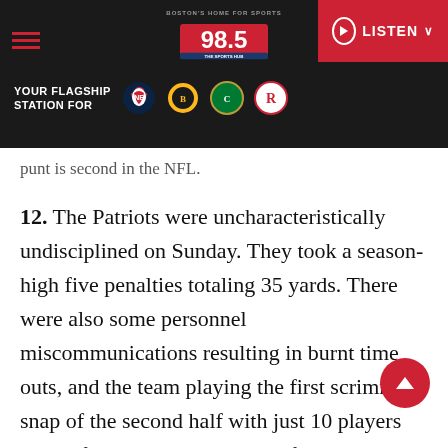[Figure (screenshot): 98.5 The Sports Hub radio station website header with logo, navigation hamburger menu, LISTEN button, and team logos for Patriots, Bruins, Celtics, and Revolution]
punt is second in the NFL.
12. The Patriots were uncharacteristically undisciplined on Sunday. They took a season-high five penalties totaling 35 yards. There were also some personnel miscommunications resulting in burnt time outs, and the team playing the first scrimmage snap of the second half with just 10 players on the field. They're still one of the least-penalized teams in the NFL, so the hope is that was just a blip and not a sign of things to come.